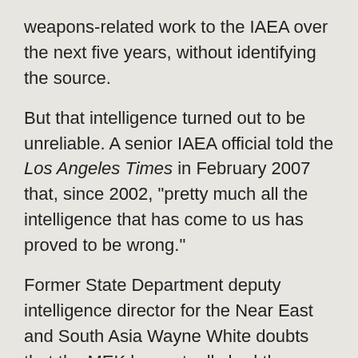weapons-related work to the IAEA over the next five years, without identifying the source.
But that intelligence turned out to be unreliable. A senior IAEA official told the Los Angeles Times in February 2007 that, since 2002, "pretty much all the intelligence that has come to us has proved to be wrong."
Former State Department deputy intelligence director for the Near East and South Asia Wayne White doubts that the MEK has actually had the contacts within the Iranian bureaucracy and scientific community necessary to come up with intelligence such as Natanz and the laptop documents. "I find it very hard to believe that supporters of the MEK haven't been thoroughly rooted out of the Iranian bureaucracy," says White. "I think they are without key sources in